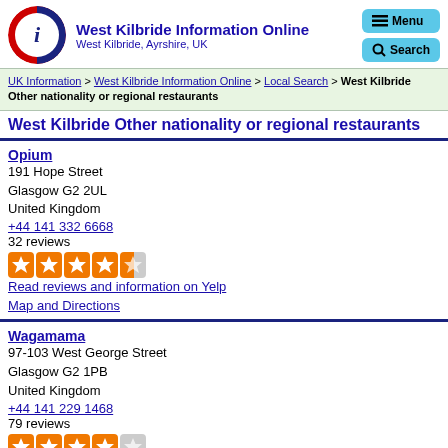West Kilbride Information Online
West Kilbride, Ayrshire, UK
UK Information > West Kilbride Information Online > Local Search > West Kilbride Other nationality or regional restaurants
West Kilbride Other nationality or regional restaurants
Opium
191 Hope Street
Glasgow G2 2UL
United Kingdom
+44 141 332 6668
32 reviews
Read reviews and information on Yelp
Map and Directions
Wagamama
97-103 West George Street
Glasgow G2 1PB
United Kingdom
+44 141 229 1468
79 reviews